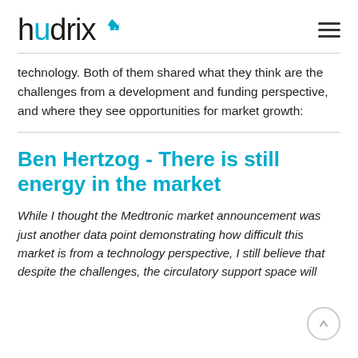[Figure (logo): Hydrix logo with stylized blue 'u' and arrow icon]
technology. Both of them shared what they think are the challenges from a development and funding perspective, and where they see opportunities for market growth:
Ben Hertzog - There is still energy in the market
While I thought the Medtronic market announcement was just another data point demonstrating how difficult this market is from a technology perspective, I still believe that despite the challenges, the circulatory support space will